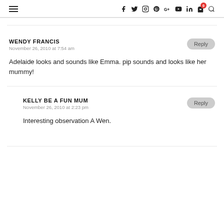Navigation header with hamburger menu and social icons
WENDY FRANCIS
November 26, 2010 at 7:54 am
Adelaide looks and sounds like Emma. pip sounds and looks like her mummy!
KELLY BE A FUN MUM
November 26, 2010 at 2:23 pm
Interesting observation A Wen.